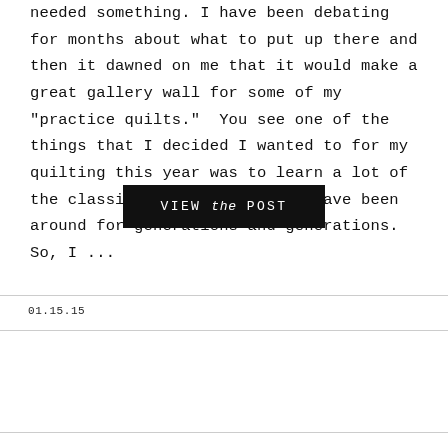needed something. I have been debating for months about what to put up there and then it dawned on me that it would make a great gallery wall for some of my "practice quilts." You see one of the things that I decided I wanted to for my quilting this year was to learn a lot of the classic quilt blocks that have been around for generations and generations. So, I ...
VIEW the POST
01.15.15